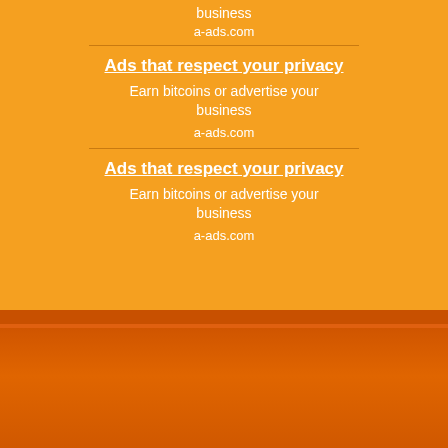business
a-ads.com
[Figure (infographic): Ad banner: Ads that respect your privacy. Earn bitcoins or advertise your business. a-ads.com]
[Figure (infographic): Ad banner: Ads that respect your privacy. Earn bitcoins or advertise your business. a-ads.com]
[Figure (infographic): Bottom orange/dark orange gradient section]